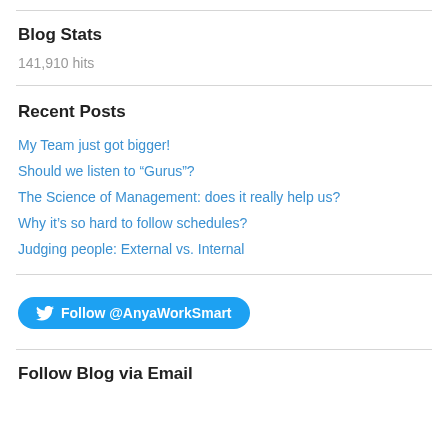Blog Stats
141,910 hits
Recent Posts
My Team just got bigger!
Should we listen to “Gurus”?
The Science of Management: does it really help us?
Why it’s so hard to follow schedules?
Judging people: External vs. Internal
[Figure (other): Twitter Follow button for @AnyaWorkSmart]
Follow Blog via Email